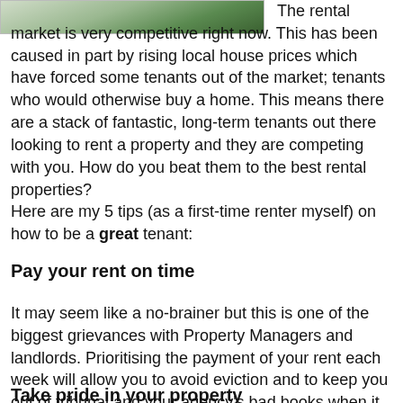[Figure (photo): Cropped landscape/outdoor photo, partially visible at top of page]
The rental market is very competitive right now. This has been caused in part by rising local house prices which have forced some tenants out of the market; tenants who would otherwise buy a home. This means there are a stack of fantastic, long-term tenants out there looking to rent a property and they are competing with you. How do you beat them to the best rental properties?
Here are my 5 tips (as a first-time renter myself) on how to be a great tenant:
Pay your rent on time
It may seem like a no-brainer but this is one of the biggest grievances with Property Managers and landlords. Prioritising the payment of your rent each week will allow you to avoid eviction and to keep you out of tribunal and your agency's bad books when it comes to arrears. Get your weekly budget sorted and rent will never be a problem!
Take pride in your property